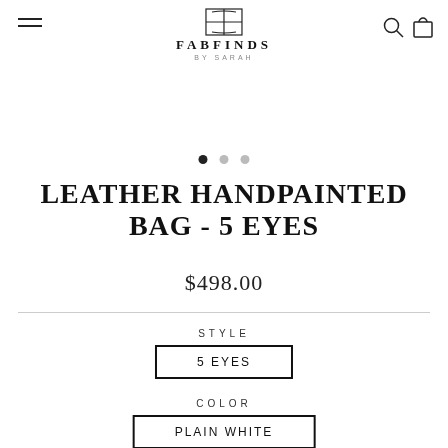FabFinds by Sarah
LEATHER HANDPAINTED BAG - 5 EYES
$498.00
STYLE
5 EYES
COLOR
PLAIN WHITE